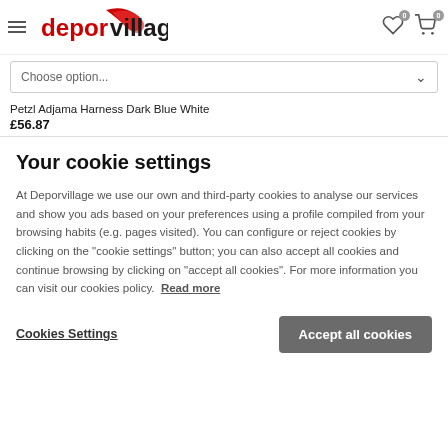deporvillage — hamburger menu, wishlist (0), cart (0)
Choose option...
Petzl Adjama Harness Dark Blue White
£56.87
Your cookie settings
At Deporvillage we use our own and third-party cookies to analyse our services and show you ads based on your preferences using a profile compiled from your browsing habits (e.g. pages visited). You can configure or reject cookies by clicking on the "cookie settings" button; you can also accept all cookies and continue browsing by clicking on "accept all cookies". For more information you can visit our cookies policy. Read more
Cookies Settings
Accept all cookies